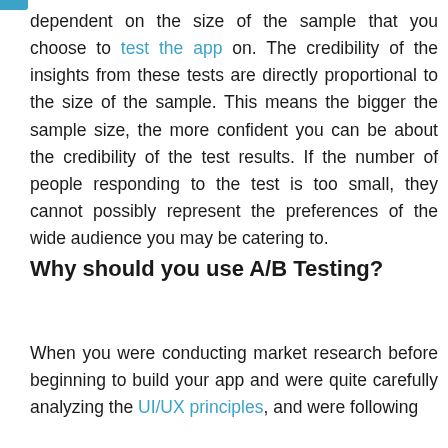dependent on the size of the sample that you choose to test the app on. The credibility of the insights from these tests are directly proportional to the size of the sample. This means the bigger the sample size, the more confident you can be about the credibility of the test results. If the number of people responding to the test is too small, they cannot possibly represent the preferences of the wide audience you may be catering to.
Why should you use A/B Testing?
When you were conducting market research before beginning to build your app and were quite carefully analyzing the UI/UX principles, and were following